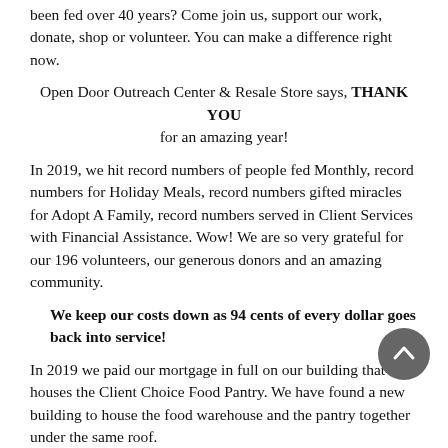been fed over 40 years?  Come join us, support our work, donate, shop or volunteer.  You can make a difference right now.
Open Door Outreach Center & Resale Store says, THANK YOU for an amazing year!
In 2019, we hit record numbers of people fed Monthly, record numbers for Holiday Meals, record numbers gifted miracles for Adopt A Family, record numbers served in Client Services with Financial Assistance.  Wow!  We are so very grateful for our 196 volunteers, our generous donors and an amazing community.
We keep our costs down as 94 cents of every dollar goes back into service!
In 2019 we paid our mortgage in full on our building that houses the Client Choice Food Pantry.  We have found a new building to house the food warehouse and the pantry together under the same roof.
It's Exciting!  Check back often as we explore our new building